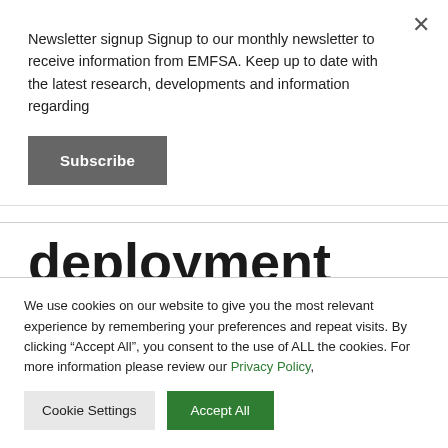Newsletter signup Signup to our monthly newsletter to receive information from EMFSA. Keep up to date with the latest research, developments and information regarding
Subscribe
deployment raises concerns
We use cookies on our website to give you the most relevant experience by remembering your preferences and repeat visits. By clicking “Accept All”, you consent to the use of ALL the cookies. For more information please review our Privacy Policy,
Cookie Settings
Accept All